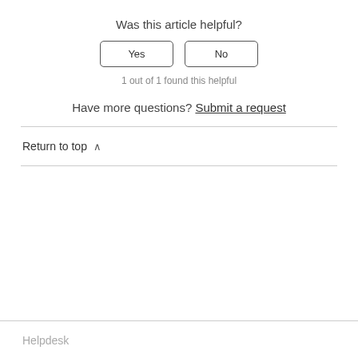Was this article helpful?
Yes   No
1 out of 1 found this helpful
Have more questions? Submit a request
Return to top ∧
Helpdesk